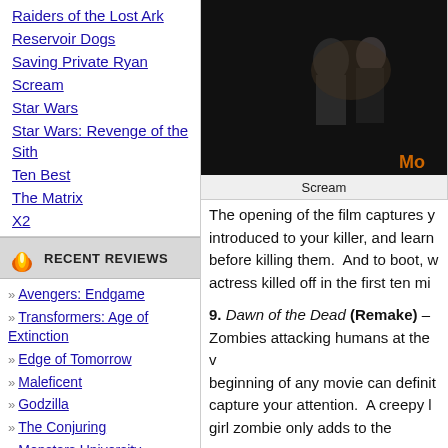Raiders of the Lost Ark
Reservoir Dogs
Saving Private Ryan
Scream
Star Wars
Star Wars: Revenge of the Sith
Ten Best
The Matrix
X2
Recent Reviews
Avengers: Endgame
Transformers: Age of Extinction
Edge of Tomorrow
Maleficent
Godzilla
The Conjuring
Monsters University
Now You See Me
The Call
[Figure (photo): Dark movie still from Scream]
Scream
The opening of the film captures y... introduced to your killer, and learn... before killing them. And to boot, w... actress killed off in the first ten mi...
9. Dawn of the Dead (Remake) – Zombies attacking humans at the v... beginning of any movie can definit... capture your attention. A creepy l... girl zombie only adds to the